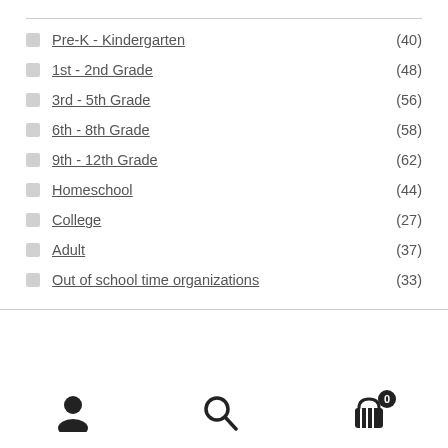Pre-K - Kindergarten (40)
1st - 2nd Grade (48)
3rd - 5th Grade (56)
6th - 8th Grade (58)
9th - 12th Grade (62)
Homeschool (44)
College (27)
Adult (37)
Out of school time organizations (33)
User icon, Search icon, Cart icon with badge 0